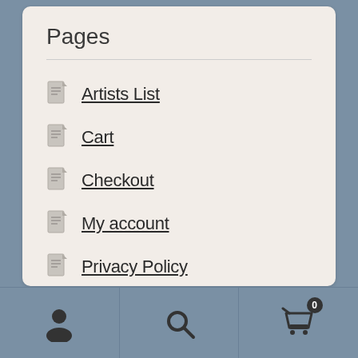Pages
Artists List
Cart
Checkout
My account
Privacy Policy
Shop